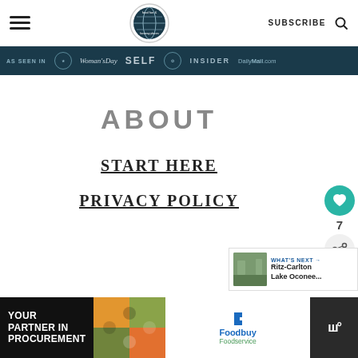SUBSCRIBE
[Figure (logo): Food Fun & Faraway Places circular logo with globe]
[Figure (infographic): Press mention bar with Woman's Day, SELF, Glamour, INSIDER, DailyMail.com logos on dark teal background]
ABOUT
START HERE
PRIVACY POLICY
[Figure (infographic): Heart icon button with teal circle background, count of 7, and share icon]
[Figure (infographic): What's Next promo: Ritz-Carlton Lake Oconee... with thumbnail of green landscape]
[Figure (infographic): Ad banner: YOUR PARTNER IN PROCUREMENT with puzzle image, Foodbuy Foodservice logo, and W logo]